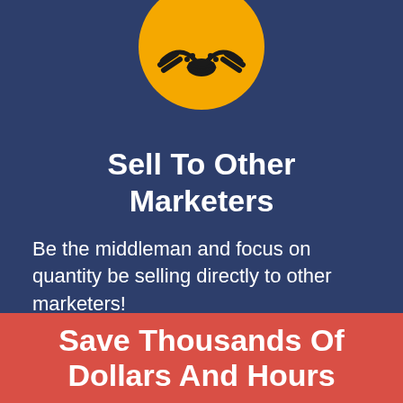[Figure (illustration): Yellow circle with a handshake icon in dark outline, partially cropped at top]
Sell To Other Marketers
Be the middleman and focus on quantity be selling directly to other marketers!
Save Thousands Of Dollars And Hours